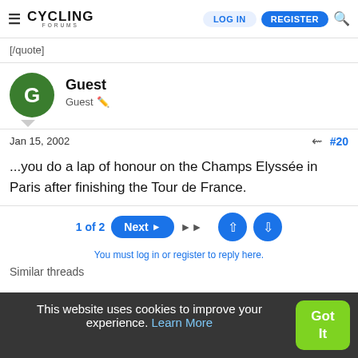Cycling Forums — LOG IN | REGISTER
[/quote]
Guest
Guest
Jan 15, 2002  #20
...you do a lap of honour on the Champs Elyssée in Paris after finishing the Tour de France.
1 of 2  Next ▶▶
You must log in or register to reply here.
This website uses cookies to improve your experience. Learn More
Similar threads